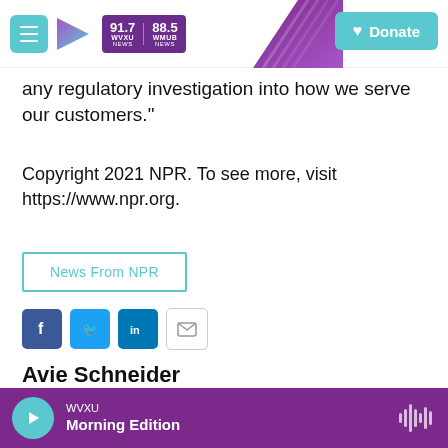WVXU 91.7 NEWS | WMUB 88.5 NEWS | Donate
any regulatory investigation into how we serve our customers."
Copyright 2021 NPR. To see more, visit https://www.npr.org.
News From NPR
Social share icons: Facebook, Twitter, LinkedIn, Email
Avie Schneider
WVXU Morning Edition